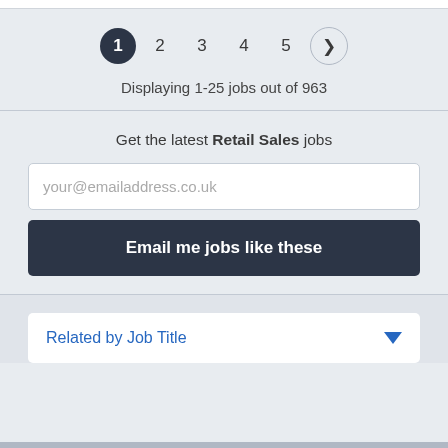[Figure (infographic): Pagination control showing pages 1 (active/dark circle), 2, 3, 4, 5, and a next arrow button]
Displaying 1-25 jobs out of 963
Get the latest Retail Sales jobs
your@emailaddress.co.uk
Email me jobs like these
Related by Job Title